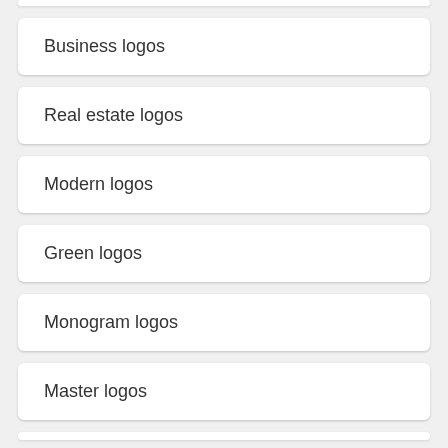Business logos
Real estate logos
Modern logos
Green logos
Monogram logos
Master logos